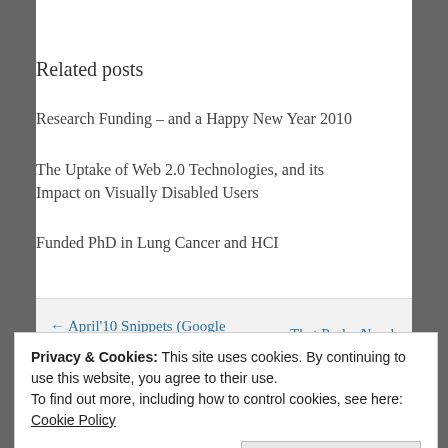Related posts
Research Funding – and a Happy New Year 2010
The Uptake of Web 2.0 Technologies, and its Impact on Visually Disabled Users
Funded PhD in Lung Cancer and HCI
← April'10 Snippets (Google Funding, Andy Brown on Insight Radio)
That Pesky Number 7 →
Privacy & Cookies: This site uses cookies. By continuing to use this website, you agree to their use.
To find out more, including how to control cookies, see here: Cookie Policy
Close and accept